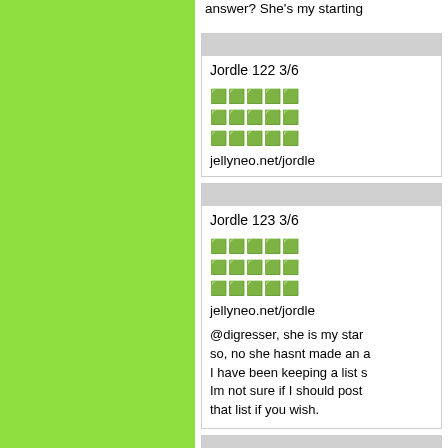answer? She's my starting
Jordle 122 3/6
🟩🟩🟩🟩🟩
🟩🟩🟩🟩🟩
🟩🟩🟩🟩🟩
jellyneo.net/jordle
Jordle 123 3/6
🟩🟩🟩🟩🟩
🟩🟩🟩🟩🟩
🟩🟩🟩🟩🟩
jellyneo.net/jordle
@digresser, she is my star... so, no she hasnt made an ... I have been keeping a list s... Im not sure if I should post... that list if you wish.